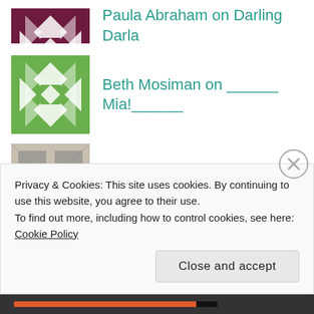Paula Abraham on Darling Darla
Beth Mosiman on ______ Mia!______
projectpalaz on 128 days for Lena.
Marissa Milton on 128 days for Lena.
Privacy & Cookies: This site uses cookies. By continuing to use this website, you agree to their use.
To find out more, including how to control cookies, see here: Cookie Policy
Close and accept